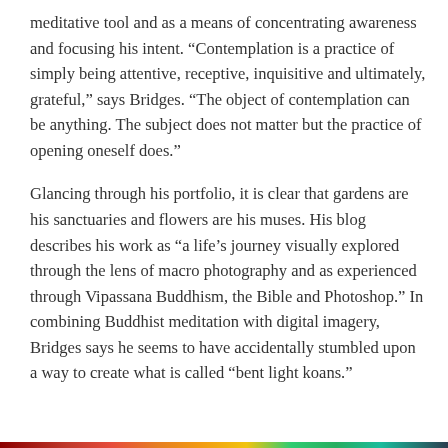meditative tool and as a means of concentrating awareness and focusing his intent. “Contemplation is a practice of simply being attentive, receptive, inquisitive and ultimately, grateful,” says Bridges. “The object of contemplation can be anything. The subject does not matter but the practice of opening oneself does.”
Glancing through his portfolio, it is clear that gardens are his sanctuaries and flowers are his muses. His blog describes his work as “a life’s journey visually explored through the lens of macro photography and as experienced through Vipassana Buddhism, the Bible and Photoshop.” In combining Buddhist meditation with digital imagery, Bridges says he seems to have accidentally stumbled upon a way to create what is called “bent light koans.”